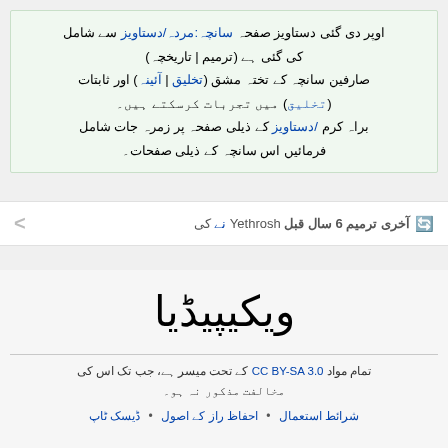اوپر دی گئی دستاویز صفحہ‏ سانچہ‏:مردہ‏/دستاویز سے‏ شامل کی گئی ہے‏‏‏ (ترمیم | تاریخچہ‏) صارفین سانچہ‏ کے‏ تختہ مشق (تخلیق | آئینہ‏) اور ثابتات (تخلیق) میں تجربات کرسکتے‏ ہیں۔‏ براہ‏ کرم /دستاویز کے‏ ذیلی صفحہ‏ پر زمرہ‏ جات شامل فرمائیں‏ اس سانچہ‏ کے‏ ذیلی صفحات۔‏
آخری ترمیم 6 سال قبل Yethrosh نے‏ کی
[Figure (logo): Wikipedia logo text in Urdu: ویکیپیڈیا]
تمام مواد CC BY-SA 3.0 کے‏ تحت میسر ہے‏‏، جب تک اس کی مخالفت مذکور نہ‏ ہو۔‏
شرائط استعمال • احفاظ‏ راز کے‏ اصول • ڈیسک ٹاپ